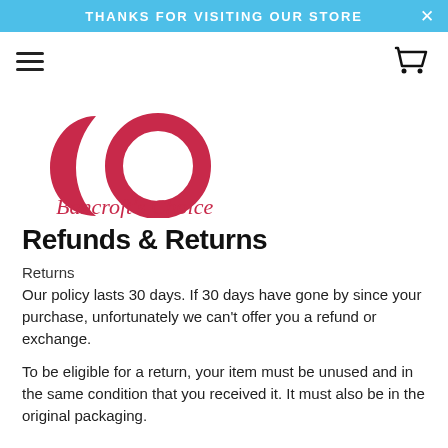THANKS FOR VISITING OUR STORE
[Figure (logo): Bancroft's Choice logo — two overlapping circles in crimson/pink forming a stylized shape, with script text 'Bancroft's Choice' below]
Refunds & Returns
Returns
Our policy lasts 30 days. If 30 days have gone by since your purchase, unfortunately we can't offer you a refund or exchange.
To be eligible for a return, your item must be unused and in the same condition that you received it. It must also be in the original packaging.